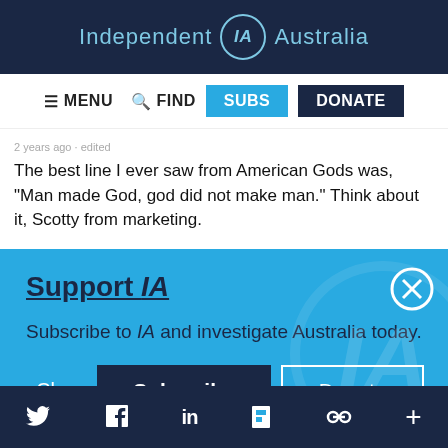Independent IA Australia
MENU  FIND  SUBS  DONATE
2 years ago · edited
The best line I ever saw from American Gods was, "Man made God, god did not make man." Think about it, Scotty from marketing.
Support IA
Subscribe to IA and investigate Australia today.
Close  Subscribe  Donate
Twitter  Facebook  LinkedIn  Flipboard  Share  More